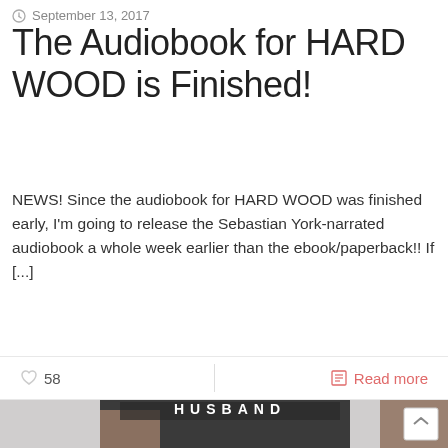September 13, 2017
The Audiobook for HARD WOOD is Finished!
NEWS! Since the audiobook for HARD WOOD was finished early, I'm going to release the Sebastian York-narrated audiobook a whole week earlier than the ebook/paperback!! If [...]
58  |  Read more
[Figure (photo): Photo of a man in a black t-shirt with text partially visible at top reading something like 'HUSBAND', with another person's arm around him. A bracelet is visible on one wrist.]